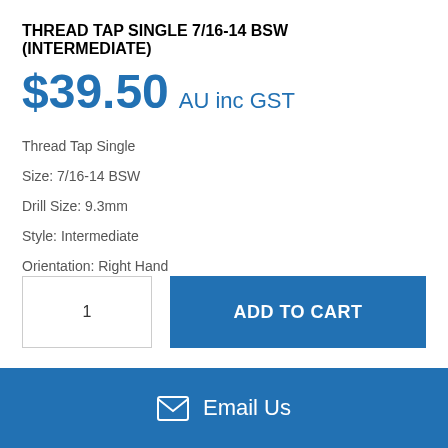THREAD TAP SINGLE 7/16-14 BSW (INTERMEDIATE)
$39.50 AU inc GST
Thread Tap Single
Size: 7/16-14 BSW
Drill Size: 9.3mm
Style: Intermediate
Orientation: Right Hand
ADD TO CART
Email Us